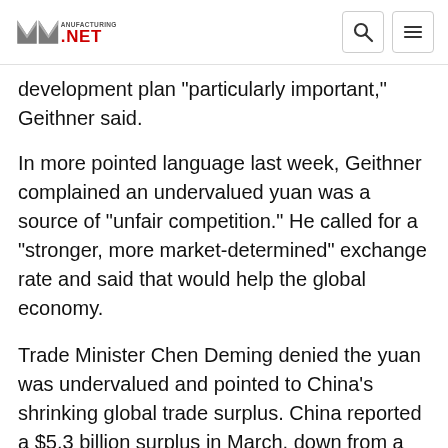Manufacturing.net
development plan "particularly important," Geithner said.
In more pointed language last week, Geithner complained an undervalued yuan was a source of "unfair competition." He called for a "stronger, more market-determined" exchange rate and said that would help the global economy.
Trade Minister Chen Deming denied the yuan was undervalued and pointed to China's shrinking global trade surplus. China reported a $5.3 billion surplus in March, down from a monthly level of at least $15 billion for most of 2011.
"Since that China had adopted a primarily...